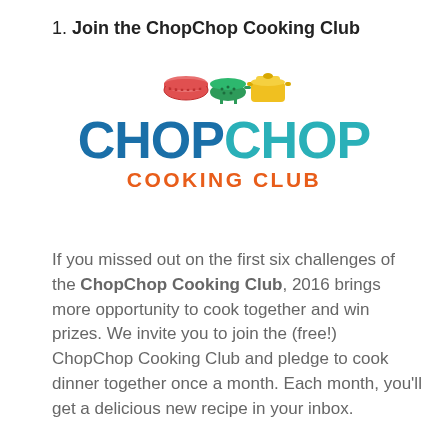1. Join the ChopChop Cooking Club
[Figure (logo): ChopChop Cooking Club logo with colorful kitchen icons (bowl, colander, pot) above large bold text 'CHOPCHOP' in blue and teal, and 'COOKING CLUB' in orange below]
If you missed out on the first six challenges of the ChopChop Cooking Club, 2016 brings more opportunity to cook together and win prizes. We invite you to join the (free!) ChopChop Cooking Club and pledge to cook dinner together once a month. Each month, you'll get a delicious new recipe in your inbox.